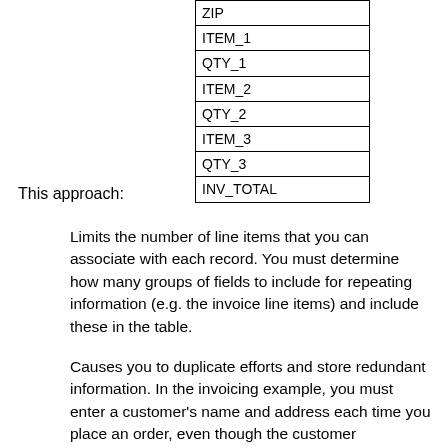| ZIP |
| ITEM_1 |
| QTY_1 |
| ITEM_2 |
| QTY_2 |
| ITEM_3 |
| QTY_3 |
| INV_TOTAL |
This approach:
Limits the number of line items that you can associate with each record. You must determine how many groups of fields to include for repeating information (e.g. the invoice line items) and include these in the table.
Causes you to duplicate efforts and store redundant information. In the invoicing example, you must enter a customer's name and address each time you place an order, even though the customer information may already exist. For instance, if the customer has